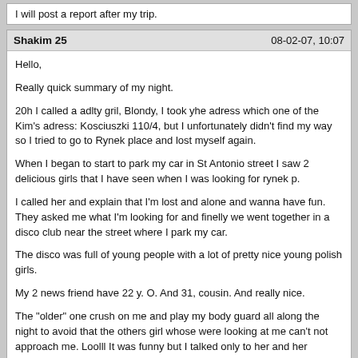I will post a report after my trip.
Shakim 25    08-02-07, 10:07
Hello,

Really quick summary of my night.

20h I called a adlty gril, Blondy, I took yhe adress which one of the Kim's adress: Kosciuszki 110/4, but I unfortunately didn't find my way so I tried to go to Rynek place and lost myself again.

When I began to start to park my car in St Antonio street I saw 2 delicious girls that I have seen when I was looking for rynek p.

I called her and explain that I'm lost and alone and wanna have fun. They asked me what I'm looking for and finelly we went together in a disco club near the street where I park my car.

The disco was full of young people with a lot of pretty nice young polish girls.

My 2 news friend have 22 y. O. And 31, cousin. And really nice.

The "older" one crush on me and play my body guard all along the night to avoid that the others girl whose were looking at me can't not approach me. Loolll It was funny but I talked only to her and her cousin. Because they are cousin! We dance together very sexy sexy, I ate her tit but she refuse to kiss cause "she's not a ***** to kiss me the 1st time we met"

At the end I didn't fuck, I missed a lot of pretty girl, but I enjoyed myself neverless. Tomorrow, dinner with the both and may be sex stuff. Why not! ?

To
Knut34    08-22-07, 11:40